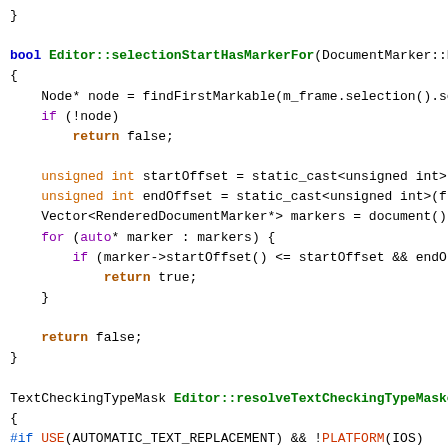Code snippet showing C++ Editor class methods: selectionStartHasMarkerFor and resolveTextCheckingTypeMask
}

bool Editor::selectionStartHasMarkerFor(DocumentMarker::M
{
    Node* node = findFirstMarkable(m_frame.selection().se
    if (!node)
        return false;

    unsigned int startOffset = static_cast<unsigned int>
    unsigned int endOffset = static_cast<unsigned int>(fr
    Vector<RenderedDocumentMarker*> markers = document()
    for (auto* marker : markers) {
        if (marker->startOffset() <= startOffset && endO
            return true;
    }

    return false;
}

TextCheckingTypeMask Editor::resolveTextCheckingTypeMaske
{
#if USE(AUTOMATIC_TEXT_REPLACEMENT) && !PLATFORM(IOS)
    bool onlyAllowsTextReplacement = false;
    if (auto* host = rootEditableElement.shadowHost())
        onlyAllowsTextReplacement = is<HTMLInputElement>
    if (onlyAllowsTextReplacement)
        textCheckingOptions &= TextCheckingTypeReplacemen
#else
    UNUSED_PARAM(rootEditableElement);
#endif